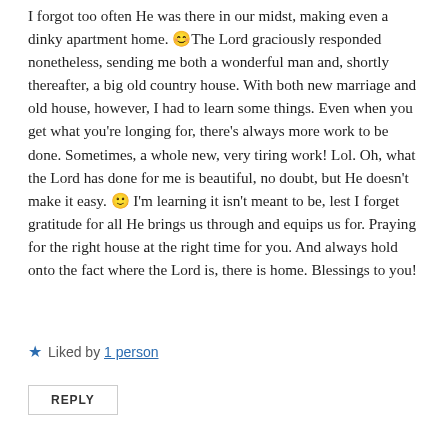I forgot too often He was there in our midst, making even a dinky apartment home. 😊The Lord graciously responded nonetheless, sending me both a wonderful man and, shortly thereafter, a big old country house. With both new marriage and old house, however, I had to learn some things. Even when you get what you're longing for, there's always more work to be done. Sometimes, a whole new, very tiring work! Lol. Oh, what the Lord has done for me is beautiful, no doubt, but He doesn't make it easy. 🙂 I'm learning it isn't meant to be, lest I forget gratitude for all He brings us through and equips us for. Praying for the right house at the right time for you. And always hold onto the fact where the Lord is, there is home. Blessings to you!
★ Liked by 1 person
REPLY